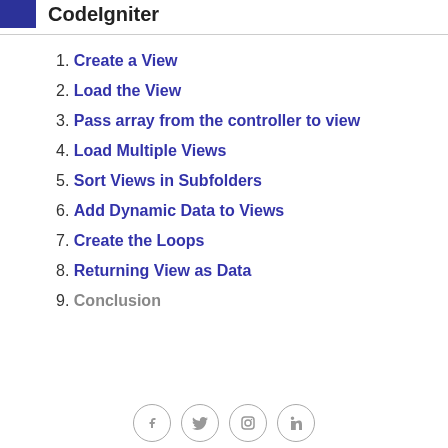CodeIgniter
1. Create a View
2. Load the View
3. Pass array from the controller to view
4. Load Multiple Views
5. Sort Views in Subfolders
6. Add Dynamic Data to Views
7. Create the Loops
8. Returning View as Data
9. Conclusion